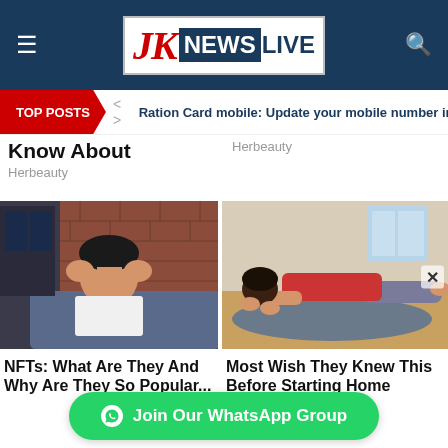JK NEWS LIVE
TOP POSTS  < >  Ration Card mobile: Update your mobile number in Ra
Know About
Herbeauty
Herbeauty
[Figure (photo): Man with hands on head looking stressed, sitting on couch with brick wall background]
NFTs: What Are They And Why Are They So Popular...
[Figure (photo): Woman in red top and grey leggings doing yoga/stretching pose on mat in bright room]
Most Wish They Knew This Before Starting Home Workout
Join Our WhatsApp Group